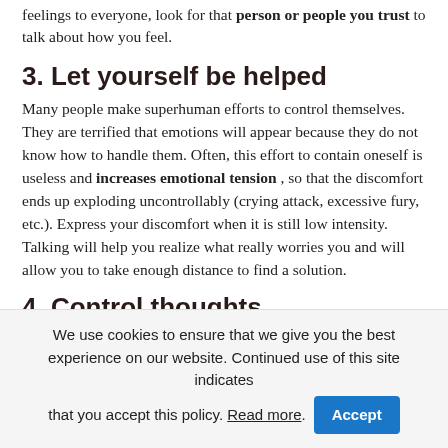feelings to everyone, look for that person or people you trust to talk about how you feel.
3. Let yourself be helped
Many people make superhuman efforts to control themselves. They are terrified that emotions will appear because they do not know how to handle them. Often, this effort to contain oneself is useless and increases emotional tension , so that the discomfort ends up exploding uncontrollably (crying attack, excessive fury, etc.). Express your discomfort when it is still low intensity. Talking will help you realize what really worries you and will allow you to take enough distance to find a solution.
4. Control thoughts
We use cookies to ensure that we give you the best experience on our website. Continued use of this site indicates that you accept this policy. Read more. Accept